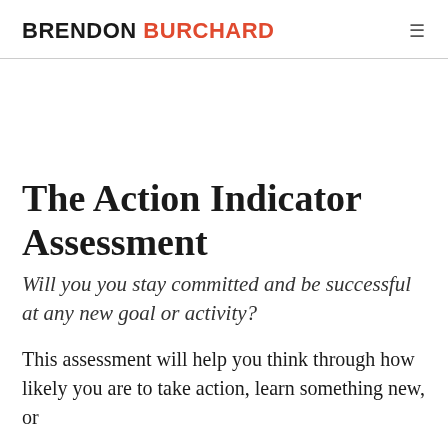BRENDON BURCHARD
The Action Indicator Assessment
Will you you stay committed and be successful at any new goal or activity?
This assessment will help you think through how likely you are to take action, learn something new, or